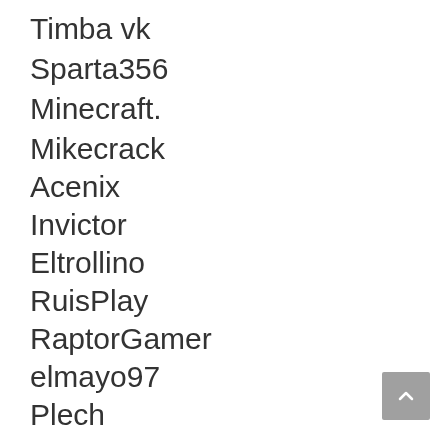Timba vk
Sparta356
Minecraft.
Mikecrack
Acenix
Invictor
Eltrollino
RuisPlay
RaptorGamer
elmayo97
Plech